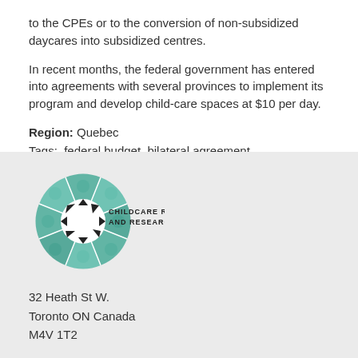to the CPEs or to the conversion of non-subsidized daycares into subsidized centres.
In recent months, the federal government has entered into agreements with several provinces to implement its program and develop child-care spaces at $10 per day.
Region: Quebec
Tags:  federal budget  bilateral agreement
[Figure (logo): Childcare Resource and Research Unit circular logo with children's faces arranged in a wheel pattern, teal/green color]
32 Heath St W.
Toronto ON Canada
M4V 1T2